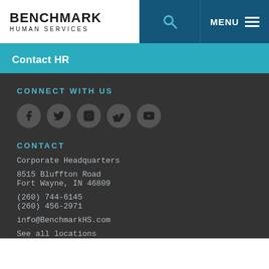BENCHMARK HUMAN SERVICES
Contact HR
CONNECT WITH US
[Figure (infographic): Five social media icon circles: Facebook, Twitter, Instagram, Vimeo, YouTube]
CONTACT
Corporate Headquarters
8515 Bluffton Road
Fort Wayne, IN 46809
(260) 744-6145
(260) 456-2971
info@BenchmarkHS.com
See all locations